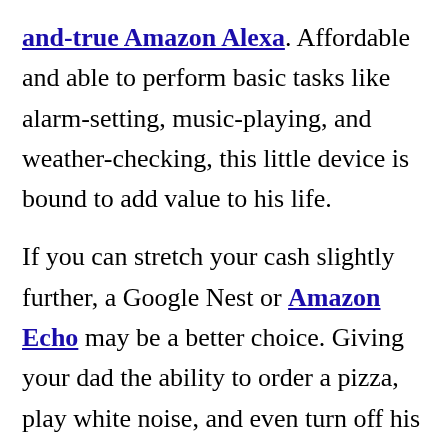and-true Amazon Alexa. Affordable and able to perform basic tasks like alarm-setting, music-playing, and weather-checking, this little device is bound to add value to his life.
If you can stretch your cash slightly further, a Google Nest or Amazon Echo may be a better choice. Giving your dad the ability to order a pizza, play white noise, and even turn off his bedroom lights, he'll wonder how he ever got by without this gift!
3. A new tie